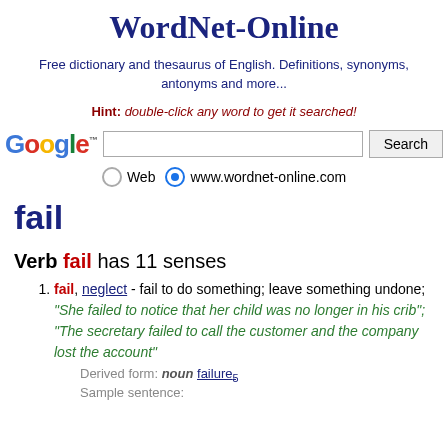WordNet-Online
Free dictionary and thesaurus of English. Definitions, synonyms, antonyms and more...
Hint: double-click any word to get it searched!
[Figure (screenshot): Google search bar with Search button, Web and www.wordnet-online.com radio options]
fail
Verb fail has 11 senses
1. fail, neglect - fail to do something; leave something undone; "She failed to notice that her child was no longer in his crib"; "The secretary failed to call the customer and the company lost the account"
Derived form: noun failure5
Sample sentence: